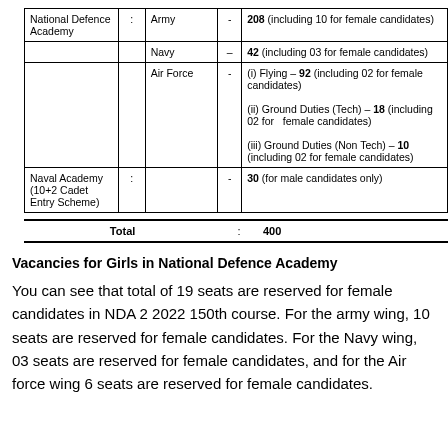|  |  |  | - |  |
| --- | --- | --- | --- | --- |
| National Defence Academy | : | Army | - | 208 (including 10 for female candidates) |
|  |  | Navy | – | 42 (including 03 for female candidates) |
|  |  | Air Force | - | (i) Flying – 92 (including 02 for female candidates)
(ii) Ground Duties (Tech) – 18 (including 02 for female candidates)
(iii) Ground Duties (Non Tech) – 10 (including 02 for female candidates) |
| Naval Academy (10+2 Cadet Entry Scheme) | : |  | - | 30 (for male candidates only) |
| Total | : | 400 |
Vacancies for Girls in National Defence Academy
You can see that total of 19 seats are reserved for female candidates in NDA 2 2022 150th course. For the army wing, 10 seats are reserved for female candidates. For the Navy wing, 03 seats are reserved for female candidates, and for the Air force wing 6 seats are reserved for female candidates.